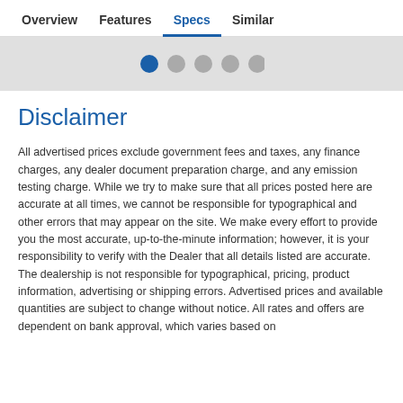Overview   Features   Specs   Similar
[Figure (other): Carousel pagination dots: one blue active dot followed by four grey dots]
Disclaimer
All advertised prices exclude government fees and taxes, any finance charges, any dealer document preparation charge, and any emission testing charge. While we try to make sure that all prices posted here are accurate at all times, we cannot be responsible for typographical and other errors that may appear on the site. We make every effort to provide you the most accurate, up-to-the-minute information; however, it is your responsibility to verify with the Dealer that all details listed are accurate. The dealership is not responsible for typographical, pricing, product information, advertising or shipping errors. Advertised prices and available quantities are subject to change without notice. All rates and offers are dependent on bank approval, which varies based on